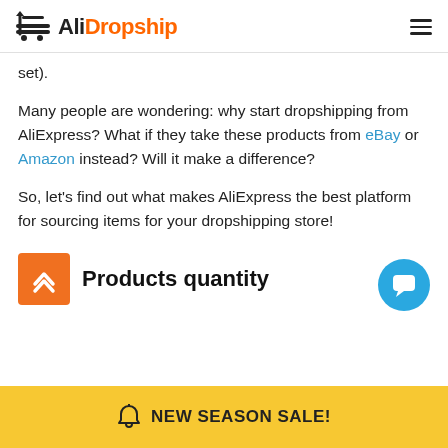AliDropship
set).
Many people are wondering: why start dropshipping from AliExpress? What if they take these products from eBay or Amazon instead? Will it make a difference?
So, let’s find out what makes AliExpress the best platform for sourcing items for your dropshipping store!
Products quantity
NEW SEASON SALE!